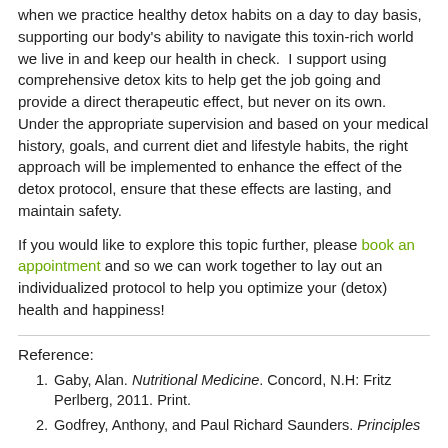when we practice healthy detox habits on a day to day basis, supporting our body's ability to navigate this toxin-rich world we live in and keep our health in check.  I support using comprehensive detox kits to help get the job going and provide a direct therapeutic effect, but never on its own.  Under the appropriate supervision and based on your medical history, goals, and current diet and lifestyle habits, the right approach will be implemented to enhance the effect of the detox protocol, ensure that these effects are lasting, and maintain safety.
If you would like to explore this topic further, please book an appointment and so we can work together to lay out an individualized protocol to help you optimize your (detox) health and happiness!
Reference:
Gaby, Alan. Nutritional Medicine. Concord, N.H: Fritz Perlberg, 2011. Print.
Godfrey, Anthony, and Paul Richard Saunders. Principles